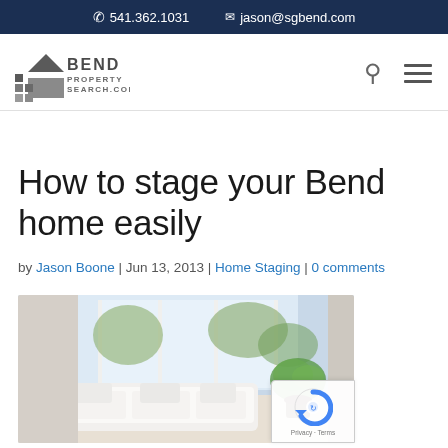541.362.1031   jason@sgbend.com
[Figure (logo): Bend Property Search logo with house icon and text]
How to stage your Bend home easily
by Jason Boone | Jun 13, 2013 | Home Staging | 0 comments
[Figure (photo): Bright living room with white sofa, plants, and large bay windows]